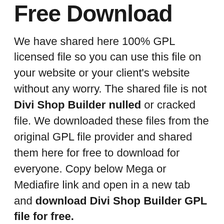Free Download
We have shared here 100% GPL licensed file so you can use this file on your website or your client's website without any worry. The shared file is not Divi Shop Builder nulled or cracked file. We downloaded these files from the original GPL file provider and shared them here for free to download for everyone. Copy below Mega or Mediafire link and open in a new tab and download Divi Shop Builder GPL file for free.